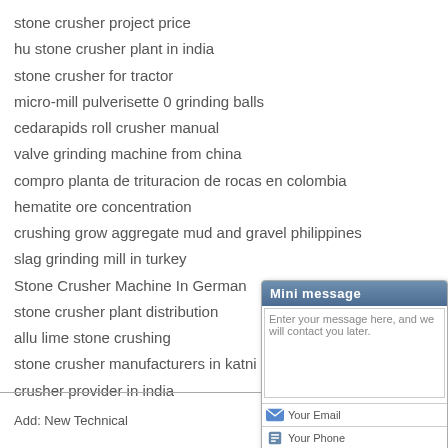stone crusher project price
hu stone crusher plant in india
stone crusher for tractor
micro-mill pulverisette 0 grinding balls
cedarapids roll crusher manual
valve grinding machine from china
compro planta de trituracion de rocas en colombia
hematite ore concentration
crushing grow aggregate mud and gravel philippines
slag grinding mill in turkey
Stone Crusher Machine In German
stone crusher plant distribution
allu lime stone crushing
stone crusher manufacturers in katni madhya
crusher provider in india
Add: New Technical
[Figure (screenshot): Mini message popup with text area, email field, phone field, and Email Us / Send buttons]